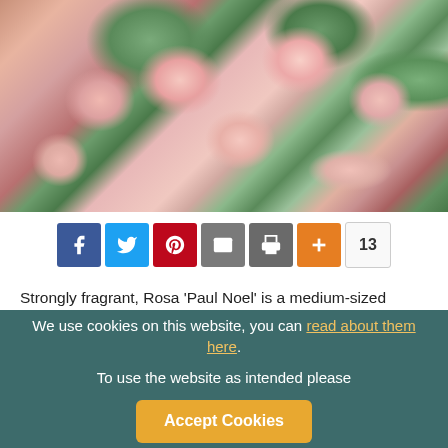[Figure (photo): Close-up photograph of pink double roses (Rosa 'Paul Noel') with green foliage in the background]
[Figure (infographic): Social sharing bar with Facebook (blue), Twitter (light blue), Pinterest (red), Email (gray), Print (dark gray), AddThis (orange) buttons and a share count badge showing 13]
Strongly fragrant, Rosa 'Paul Noel' is a medium-sized rambler with graceful sprays of double, strawberry-pink flowers with
We use cookies on this website, you can read about them here. To use the website as intended please  Accept Cookies